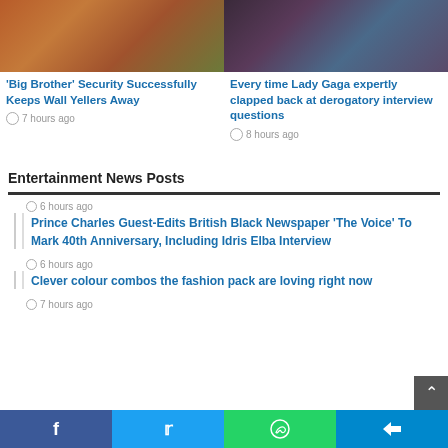[Figure (photo): Photo of a building exterior with orange roof, storefront]
'Big Brother' Security Successfully Keeps Wall Yellers Away
7 hours ago
[Figure (photo): Photo of Lady Gaga in teal/blue outfit]
Every time Lady Gaga expertly clapped back at derogatory interview questions
8 hours ago
Entertainment News Posts
6 hours ago
Prince Charles Guest-Edits British Black Newspaper 'The Voice' To Mark 40th Anniversary, Including Idris Elba Interview
6 hours ago
Clever colour combos the fashion pack are loving right now
7 hours ago